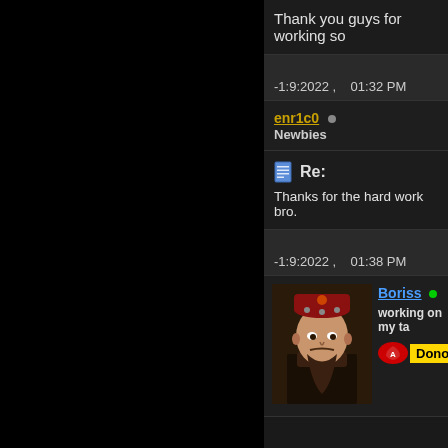Thank you guys for working so
-1:9:2022 ,   01:32 PM
enr1c0 • Newbies
Re:
Thanks for the hard work bro.
-1:9:2022 ,   01:38 PM
Boriss • working on my ta
[Figure (photo): Portrait of a historical figure wearing ornate headwear]
Donor